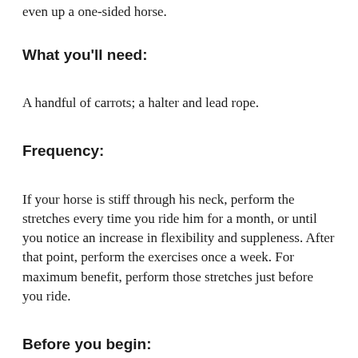even up a one-sided horse.
What you'll need:
A handful of carrots; a halter and lead rope.
Frequency:
If your horse is stiff through his neck, perform the stretches every time you ride him for a month, or until you notice an increase in flexibility and suppleness. After that point, perform the exercises once a week. For maximum benefit, perform those stretches just before you ride.
Before you begin: